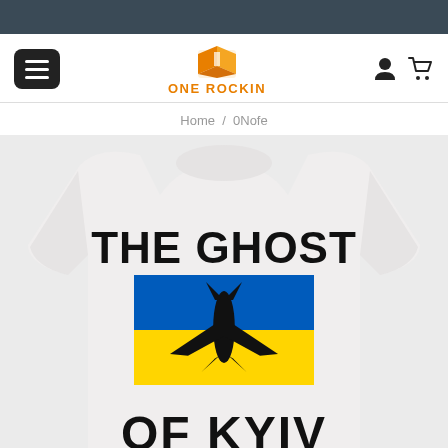ONE ROCKIN - navigation header with menu, logo, user and cart icons
Home / 0Nofe
[Figure (photo): White crewneck sweatshirt with 'THE GHOST OF KYIV' graphic design featuring a fighter jet silhouette over the Ukrainian flag (blue and yellow).]